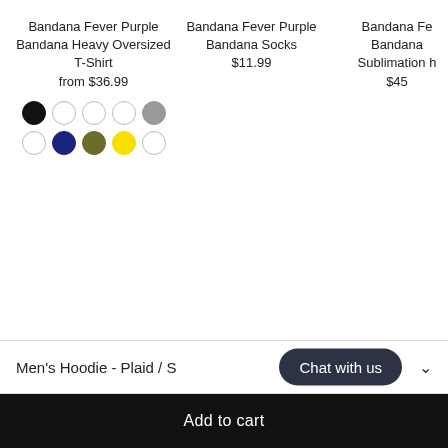Bandana Fever Purple Bandana Heavy Oversized T-Shirt
from $36.99
[Figure (other): Color swatches: black, white, white, white, gray, white (row 1); navy, olive, yellow, white (row 2)]
Bandana Fever Purple Bandana Socks
$11.99
Bandana Fe... Bandana ... Sublimation h...
$45
Men's Hoodie - Plaid / S
Chat with us
Add to cart